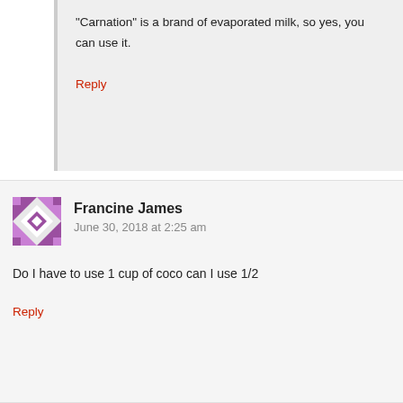“Carnation” is a brand of evaporated milk, so yes, you can use it.
Reply
[Figure (illustration): Avatar/gravatar icon with purple and white geometric quilt pattern]
Francine James
June 30, 2018 at 2:25 am
Do I have to use 1 cup of coco can I use 1/2
Reply